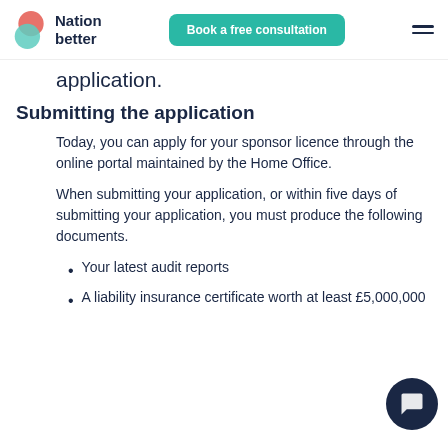Nation better | Book a free consultation
application.
Submitting the application
Today, you can apply for your sponsor licence through the online portal maintained by the Home Office.
When submitting your application, or within five days of submitting your application, you must produce the following documents.
Your latest audit reports
A liability insurance certificate worth at least £5,000,000